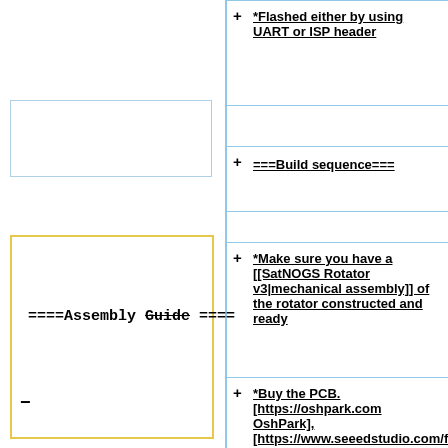*Flashed either by using UART or ISP header
====Assembly Guide ====
===Build sequence===
*Make sure you have a [[SatNOGS Rotator v3|mechanical assembly]] of the rotator constructed and ready
*Buy the PCB. [https://oshpark.com OshPark], [https://www.seeedstudio.com/fusion_pcb.html Seeed Fusion] [https://www.pcbway.com PCBWay.com], [http://dirtypcbs.com DirtyPCBs.com], [https://www.elecrow.com/ Elecrow],